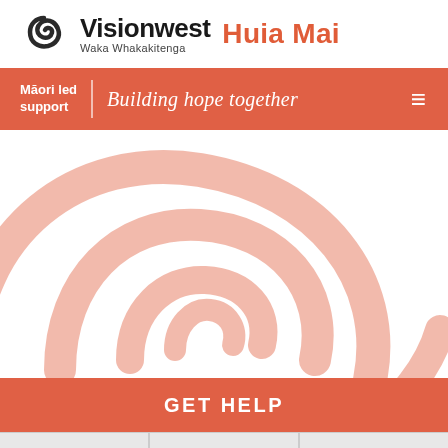[Figure (logo): Visionwest Waka Whakakitenga logo with spiral icon, followed by 'Huia Mai' text in orange]
Māori led support | Building hope together
[Figure (illustration): Large decorative salmon/coral colored spiral koru design on white background]
GET HELP
VISIONWEST INFO
GET INVOLVED
WORK WITH US